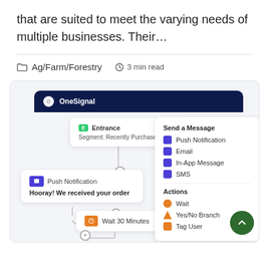that are suited to meet the varying needs of multiple businesses. Their…
Ag/Farm/Forestry  3 min read
[Figure (screenshot): OneSignal workflow builder screenshot showing an automation canvas with Entrance node (Segment: Recently Purchased), Push Notification node (Hooray! We received your order), Wait 30 Minutes node, connector circles, and a right-side panel with Send a Message options (Push Notification, Email, In-App Message, SMS) and Actions (Wait, Yes/No Branch, Tag User), plus a green scroll-to-top button.]